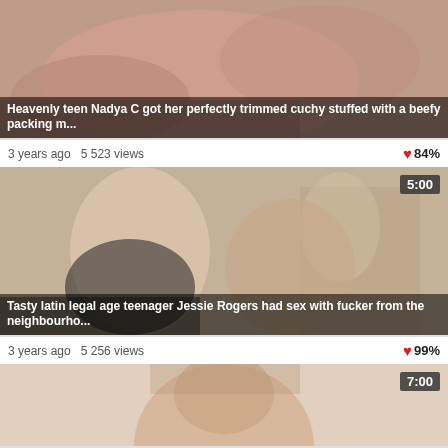[Figure (photo): Thumbnail image for first video]
Heavenly teen Nadya C got her perfectly trimmed cuchy stuffed with a beefy packing m...
3 years ago  5 523 views  ❤ 84%
[Figure (photo): Thumbnail image for second video with duration badge 5:00]
Tasty latin legal age teenager Jessie Rogers had sex with fucker from the neighbourho...
3 years ago  5 256 views  ❤ 99%
[Figure (photo): Thumbnail image for third video with duration badge 7:00]